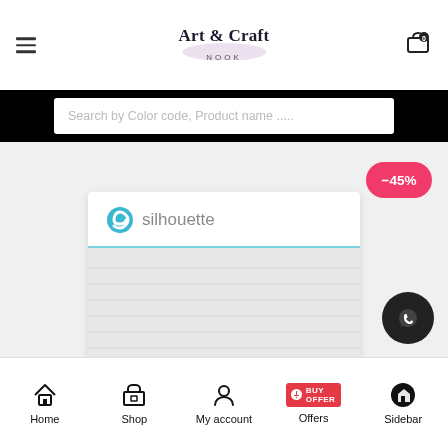Art & Craft NOOK
Search by Color code, Product name .....
[Figure (screenshot): Silhouette brand product card showing silhouette logo on a white card with light blue divider line, product body area below]
-45%
Home  Shop  My account  Offers  Sidebar